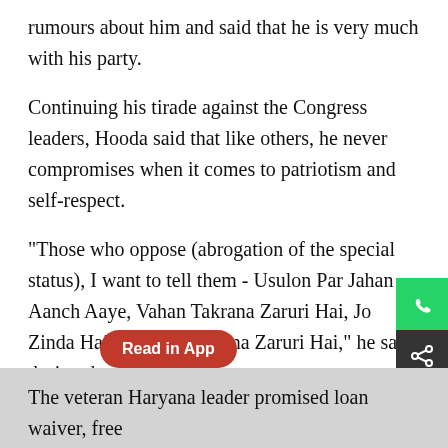rumours about him and said that he is very much with his party.
Continuing his tirade against the Congress leaders, Hooda said that like others, he never compromises when it comes to patriotism and self-respect.
"Those who oppose (abrogation of the special status), I want to tell them - Usulon Par Jahan Aanch Aaye, Vahan Takrana Zaruri Hai, Jo Zinda Hai To Zinda Dikhna Zaruri Hai," he said during the rally.
At a previous occasion too, Hooda had lauded the Modi government's move to r[Read in App]0 as a "milestone".
In view of the fast-approaching assembly polls in Haryana, Hooda also promised several lofty promises to the people.
The veteran Haryana leader promised loan waiver, free